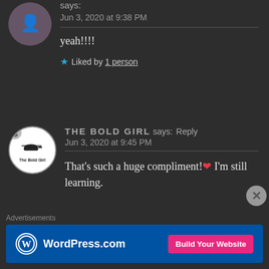says:
Jun 3, 2020 at 9:38 PM
yeah!!!!
★ Liked by 1 person
THE BOLD GIRL says: Reply
Jun 3, 2020 at 9:45 PM
That's such a huge compliment!❤ I'm still learning.
Advertisements
[Figure (logo): WordPress.com advertisement banner with Build Your Website button]